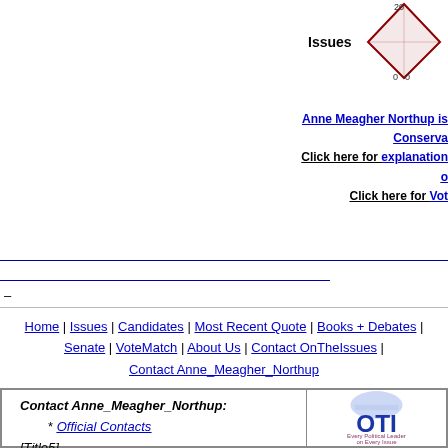[Figure (other): Diamond-shaped political rating chart with score 20, axes labeled 0 0]
Issues
Anne Meagher Northup is a Hard-Core Conserva... Click here for explanation o... Click here for Vot...
—
Home | Issues | Candidates | Most Recent Quote | Books + Debates | Senate | VoteMatch | About Us | Contact OnTheIssues | Contact Anne_Meagher_Northup
| Contact Anne_Meagher_Northup: | OTI Every Political Leader on Every Issue |
| * Official Contacts
[Title5]
* Candidate Profile |  |
* Official Contacts
[Title5]
* Candidate Profile